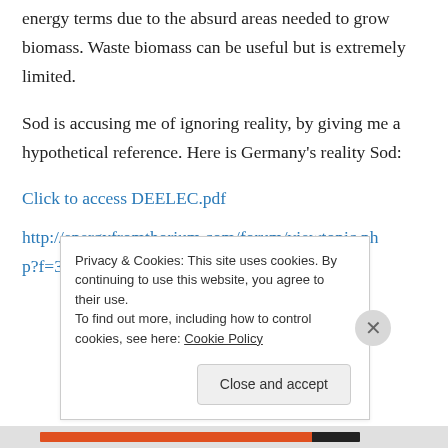energy terms due to the absurd areas needed to grow biomass. Waste biomass can be useful but is extremely limited.
Sod is accusing me of ignoring reality, by giving me a hypothetical reference. Here is Germany's reality Sod:
Click to access DEELEC.pdf
http://energyfromthorium.com/forum/viewtopic.php?f=39&t=2689
Privacy & Cookies: This site uses cookies. By continuing to use this website, you agree to their use.
To find out more, including how to control cookies, see here: Cookie Policy